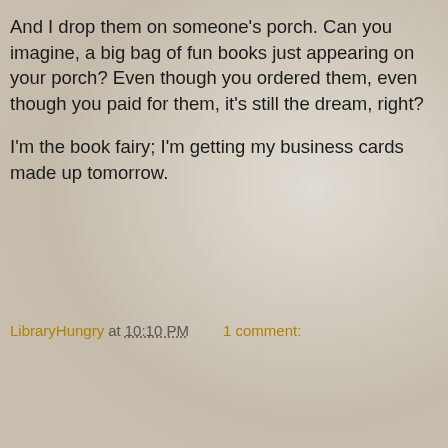And I drop them on someone's porch. Can you imagine, a big bag of fun books just appearing on your porch? Even though you ordered them, even though you paid for them, it's still the dream, right?
I'm the book fairy; I'm getting my business cards made up tomorrow.
LibraryHungry at 10:10 PM   1 comment:
[Figure (screenshot): Navigation bar with left arrow button, Home button, and right arrow button]
View web version
ABOUT ME
[Figure (photo): Profile photo of a woman reading a book outdoors]
LibraryHungry
I live near Boston and read a lot. And I'm kind of opinionated.
View my complete profile
Powered by Blogger